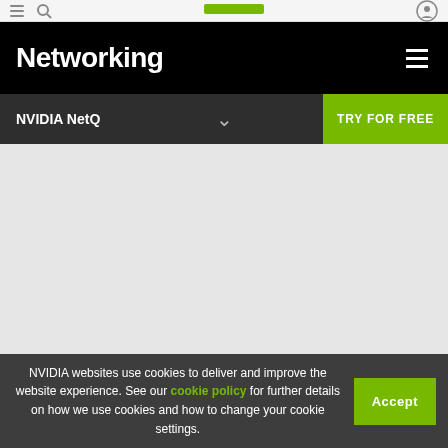Networking
NVIDIA NetQ
[Figure (screenshot): Grey placeholder content area for NVIDIA NetQ page]
How NetQ works
NVIDIA websites use cookies to deliver and improve the website experience. See our cookie policy for further details on how we use cookies and how to change your cookie settings.